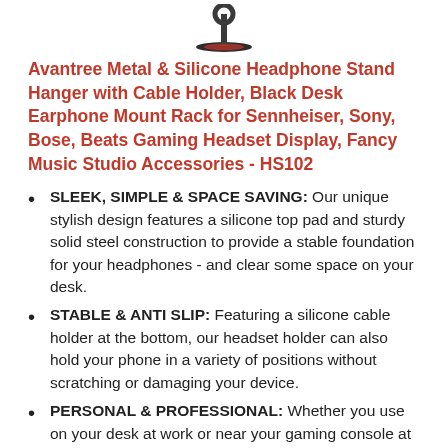[Figure (photo): Small product image of the Avantree headphone stand, showing a black metal stand with a circular base, partially visible at the top of the page.]
Avantree Metal & Silicone Headphone Stand Hanger with Cable Holder, Black Desk Earphone Mount Rack for Sennheiser, Sony, Bose, Beats Gaming Headset Display, Fancy Music Studio Accessories - HS102
SLEEK, SIMPLE & SPACE SAVING: Our unique stylish design features a silicone top pad and sturdy solid steel construction to provide a stable foundation for your headphones - and clear some space on your desk.
STABLE & ANTI SLIP: Featuring a silicone cable holder at the bottom, our headset holder can also hold your phone in a variety of positions without scratching or damaging your device.
PERSONAL & PROFESSIONAL: Whether you use on your desk at work or near your gaming console at home, our headphone hanger is